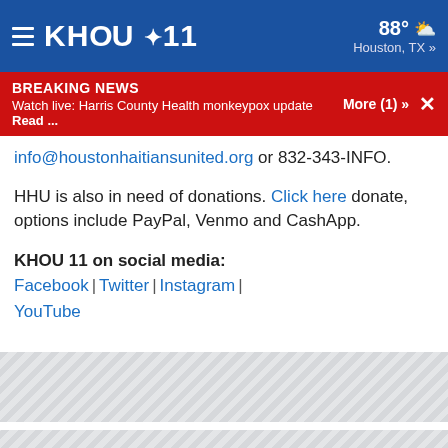KHOU 11 | 88° Houston, TX »
BREAKING NEWS - Watch live: Harris County Health monkeypox update Read ... More (1) »
info@houstonhaitiansunited.org or 832-343-INFO.
HHU is also in need of donations. Click here donate, options include PayPal, Venmo and CashApp.
KHOU 11 on social media: Facebook | Twitter | Instagram | YouTube
[Figure (other): Gray hatched placeholder advertisement block 1]
[Figure (other): Gray hatched placeholder advertisement block 2]